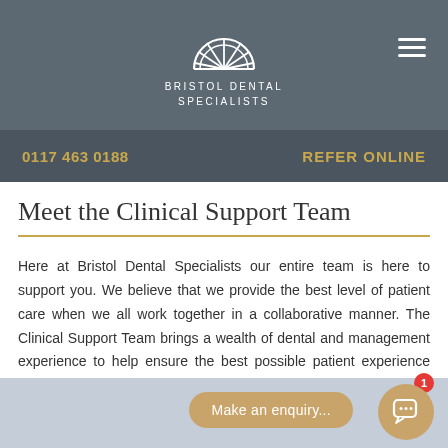BRISTOL DENTAL SPECIALISTS
0117 463 0188
REFER ONLINE
Meet the Clinical Support Team
Here at Bristol Dental Specialists our entire team is here to support you. We believe that we provide the best level of patient care when we all work together in a collaborative manner. The Clinical Support Team brings a wealth of dental and management experience to help ensure the best possible patient experience and outcome from their treatment journey.
Make an enquiry...